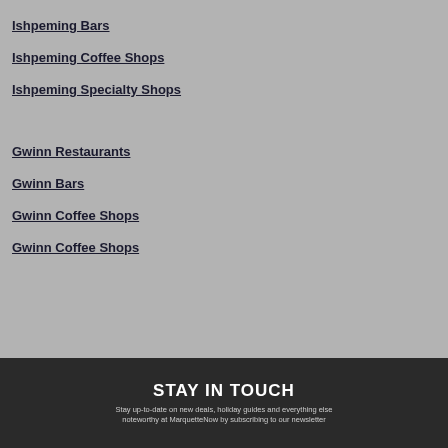Ishpeming Bars
Ishpeming Coffee Shops
Ishpeming Specialty Shops
Gwinn Restaurants
Gwinn Bars
Gwinn Coffee Shops
Gwinn Coffee Shops
STAY IN TOUCH
Stay up-to-date on new deals, holiday guides and everything else noteworthy at MarquetteNow by subscribing to our newsletter